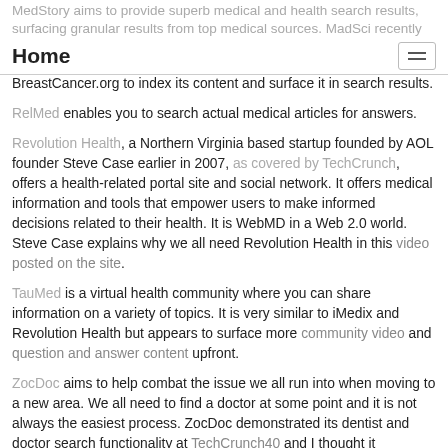MedStory aims to provide superb medical and health search results, surfacing granular results from top medical sources. MadSci recently partnered with both the Wall Street Journal and
Home
BreastCancer.org to index its content and surface it in search results.
RelMed enables you to search actual medical articles for answers.
Revolution Health, a Northern Virginia based startup founded by AOL founder Steve Case earlier in 2007, as covered by TechCrunch, offers a health-related portal site and social network. It offers medical information and tools that empower users to make informed decisions related to their health. It is WebMD in a Web 2.0 world. Steve Case explains why we all need Revolution Health in this video posted on the site.
TauMed is a virtual health community where you can share information on a variety of topics. It is very similar to iMedix and Revolution Health but appears to surface more community video and question and answer content upfront.
ZocDoc aims to help combat the issue we all run into when moving to a new area. We all need to find a doctor at some point and it is not always the easiest process. ZocDoc demonstrated its dentist and doctor search functionality at TechCrunch40 and I thought it